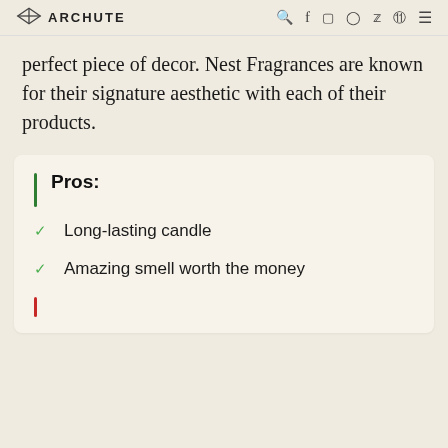ARCHUTE
perfect piece of decor. Nest Fragrances are known for their signature aesthetic with each of their products.
Pros:
Long-lasting candle
Amazing smell worth the money